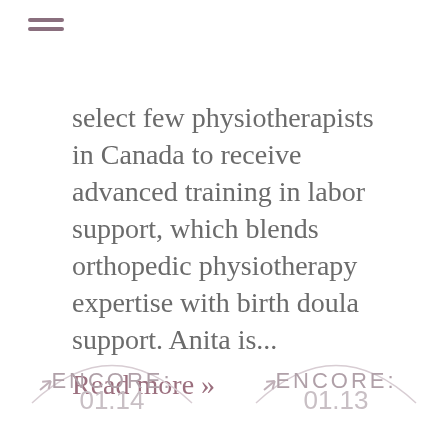≡ (menu icon)
select few physiotherapists in Canada to receive advanced training in labor support, which blends orthopedic physiotherapy expertise with birth doula support. Anita is...
Read more »
ENCORE:
ENCORE: